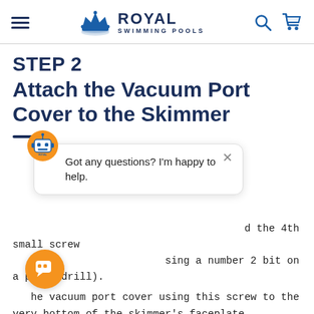[Figure (logo): Royal Swimming Pools logo with crown icon and hamburger menu, search and cart icons]
STEP 2
Attach the Vacuum Port Cover to the Skimmer
[Figure (screenshot): Chat popup with robot avatar icon saying 'Got any questions? I'm happy to help.' with a close X button]
...d the 4th small screw ...sing a number 2 bit on a power drill).
...he vacuum port cover using this screw to the very bottom of the skimmer's faceplate.
[Figure (illustration): Orange circular chat button with speech bubble icon]